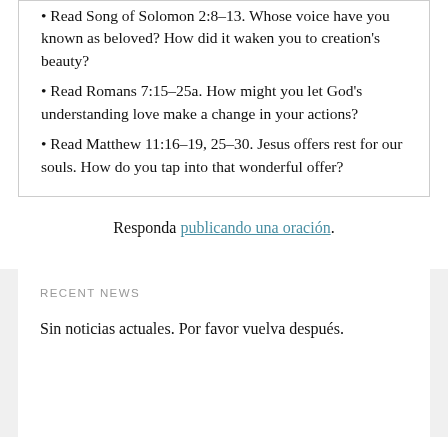Read Song of Solomon 2:8–13. Whose voice have you known as beloved? How did it waken you to creation's beauty?
Read Romans 7:15–25a. How might you let God's understanding love make a change in your actions?
Read Matthew 11:16–19, 25–30. Jesus offers rest for our souls. How do you tap into that wonderful offer?
Responda publicando una oración.
RECENT NEWS
Sin noticias actuales. Por favor vuelva después.